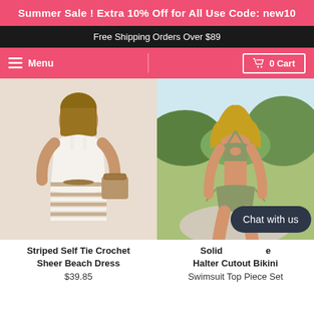Summer Sale ! Extra 10% Off for All Use Code: new10
Free Shipping Orders Over $89
Menu | 0 Cart
[Figure (photo): Model wearing a striped self tie crochet sheer beach dress, white with tan/beige horizontal stripes, holding a wicker bag]
[Figure (photo): Model wearing a solid color halter cutout bikini swimsuit in olive/khaki green, posing outdoors by a pool]
Striped Self Tie Crochet Sheer Beach Dress
$39.85
Solid Halter Cutout Bikini Swimsuit Top Piece Set
Chat with us